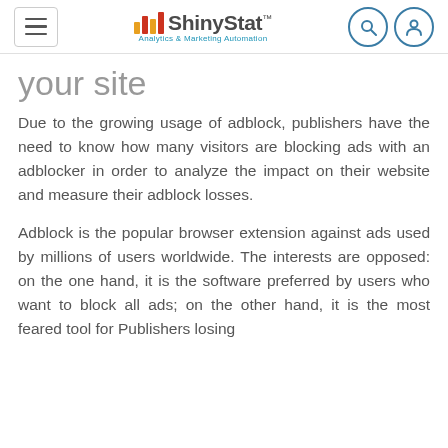ShinyStat - Analytics & Marketing Automation
your site
Due to the growing usage of adblock, publishers have the need to know how many visitors are blocking ads with an adblocker in order to analyze the impact on their website and measure their adblock losses.
Adblock is the popular browser extension against ads used by millions of users worldwide. The interests are opposed: on the one hand, it is the software preferred by users who want to block all ads; on the other hand, it is the most feared tool for Publishers losing